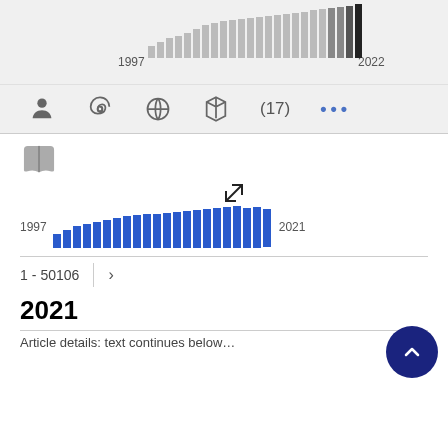[Figure (histogram): Gray histogram of publications 1997-2022, showing increasing trend with dark bars near 2022]
[Figure (infographic): Toolbar with icons: person, spiral/fingerprint, globe, cube, count (17), and ellipsis (more options)]
[Figure (other): Book/open book icon]
[Figure (other): Expand/fullscreen arrow icon]
[Figure (histogram): Blue bar chart of publications 1997-2021]
1 - 50106
2021
Article details: text continues below